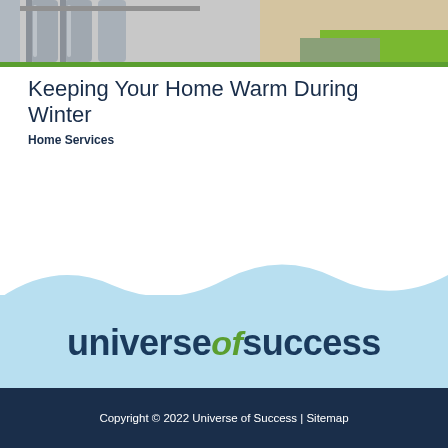[Figure (photo): Header photo showing heating equipment and a cozy interior scene with green/nature element]
Keeping Your Home Warm During Winter
Home Services
[Figure (illustration): Light blue wave background with Universe of Success logo]
Copyright © 2022 Universe of Success | Sitemap